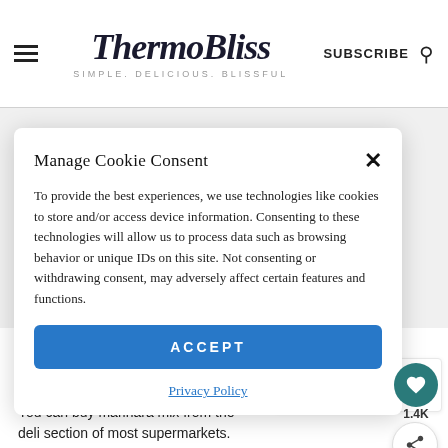ThermoBliss — SIMPLE. DELICIOUS. BLISSFUL
Manage Cookie Consent
To provide the best experiences, we use technologies like cookies to store and/or access device information. Consenting to these technologies will allow us to process data such as browsing behavior or unique IDs on this site. Not consenting or withdrawing consent, may adversely affect certain features and functions.
ACCEPT
Privacy Policy
Notes
You can buy marinara mix from the deli section of most supermarkets.